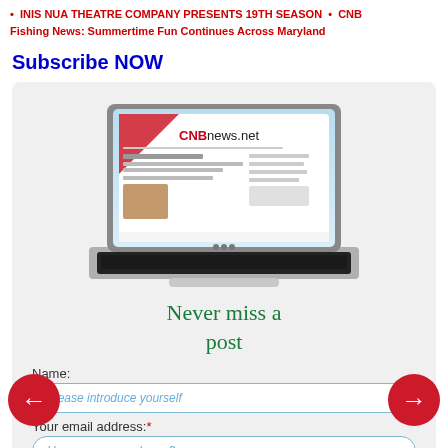• INIS NUA THEATRE COMPANY PRESENTS 19TH SEASON • CNB Fishing News: Summertime Fun Continues Across Maryland
Subscribe NOW
[Figure (screenshot): Screenshot of CNBnews.net website displayed on a laptop computer illustration]
Never miss a post
Name:
Please introduce yourself
Your email address: *
How can we reach you?